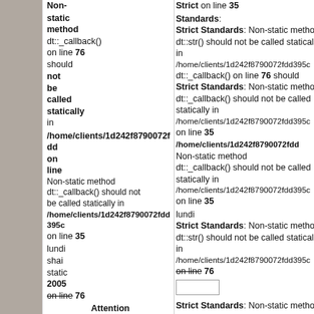Strict Standards: Non-static method dt::str() should not be called statically in /home/clients/1d242f8790072fdd395c on line 76

Strict Standards: Non-static method dt::_callback() should not be called statically in /home/clients/1d242f8790072fdd395c on line 35

/home/clients/1d242f8790072fdd on line 35

Non-static method dt::_callback() should not be called statically in /home/clients/1d242f8790072fdd395c on line 35

lundi

Strict Standards: Non-static method dt::str() should not be called statically in /home/clients/1d242f8790072fdd395c on line 76

2005

Strict Standards: Non-static method dt::_callback() should not be called statically in /home/clients/1d242f8790072fdd395c on line 35

Attention
Strict on line 35
Standards:
Strict Standards: Non-static method dt::str() should not be called statically in /home/clients/1d242f8790072fdd395c dt::_callback() on line 76 should
Strict Standards: Non-static method dt::_callback() should not be called statically in /home/clients/1d242f8790072fdd395c on line 35
/home/clients/1d242f8790072fdd on Non-static method dt::_callback() should not be called statically in /home/clients/1d242f8790072fdd395c on line 35
lundi
Strict Standards: Non-static method dt::str() should not be called statically in /home/clients/1d242f8790072fdd395c on line 76
2005
Strict Standards: Non-static method
Attention